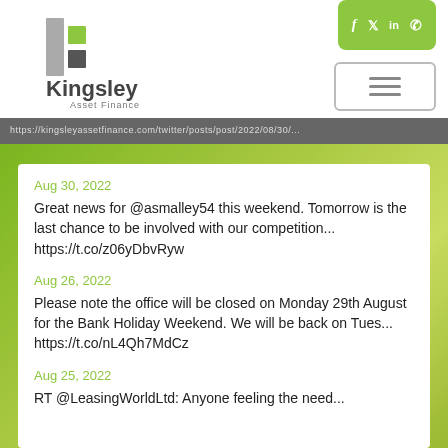[Figure (logo): Kingsley Asset Finance logo with grey and green square icons above the text]
[Figure (infographic): Green rounded rectangle social media bar with Facebook, Twitter, LinkedIn, and phone icons in white]
[Figure (infographic): Hamburger menu button (three horizontal lines) in a rounded rectangle border]
https://kingsleyassetfinance.com/twitter/posts/post...
Aug 30, 2022
Great news for @asmalley54 this weekend. Tomorrow is the last chance to be involved with our competition... https://t.co/z06yDbvRyw
Aug 26, 2022
Please note the office will be closed on Monday 29th August for the Bank Holiday Weekend. We will be back on Tues... https://t.co/nL4Qh7MdCz
Aug 25, 2022
RT @LeasingWorldLtd: Anyone feeling the need...